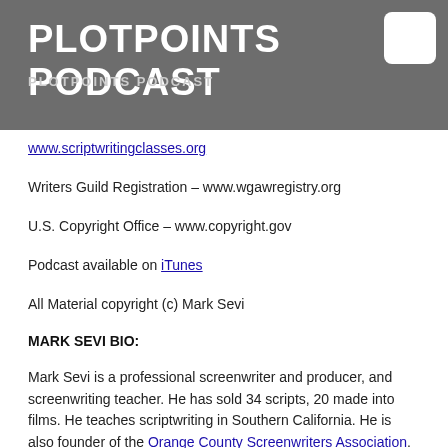PLOTPOINTS PODCAST
www.scriptwritingclasses.org
Writers Guild Registration – www.wgawregistry.org
U.S. Copyright Office – www.copyright.gov
Podcast available on iTunes
All Material copyright (c) Mark Sevi
MARK SEVI BIO:
Mark Sevi is a professional screenwriter and producer, and screenwriting teacher. He has sold 34 scripts, 20 made into films. He teaches scriptwriting in Southern California. He is also founder of the Orange County Screenwriters Association.